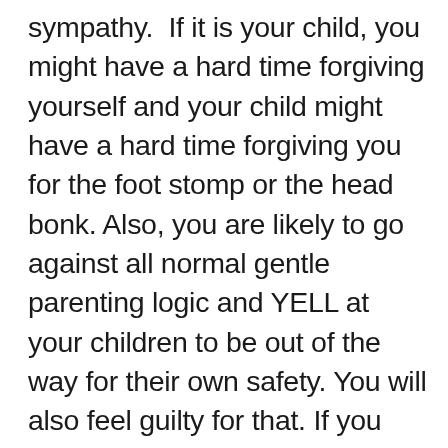sympathy. If it is your child, you might have a hard time forgiving yourself and your child might have a hard time forgiving you for the foot stomp or the head bonk. Also, you are likely to go against all normal gentle parenting logic and YELL at your children to be out of the way for their own safety. You will also feel guilty for that. If you hire professional movers and your kids are around, the movers might get very cranky and break something seemingly on purpose. It happened to a friend of mine. Hire childcare.